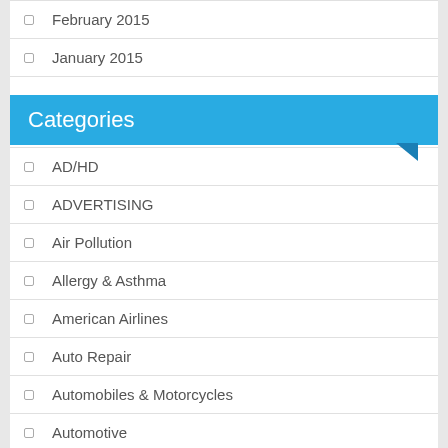February 2015
January 2015
Categories
AD/HD
ADVERTISING
Air Pollution
Allergy & Asthma
American Airlines
Auto Repair
Automobiles & Motorcycles
Automotive
Banks
Bulging Disc